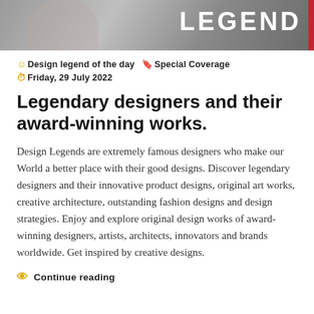[Figure (photo): Header image with grayscale photo background and 'LEGEND' text in white on the right with a red vertical bar on the far right edge]
Design legend of the day  Special Coverage  Friday, 29 July 2022
Legendary designers and their award-winning works.
Design Legends are extremely famous designers who make our World a better place with their good designs. Discover legendary designers and their innovative product designs, original art works, creative architecture, outstanding fashion designs and design strategies. Enjoy and explore original design works of award-winning designers, artists, architects, innovators and brands worldwide. Get inspired by creative designs.
Continue reading